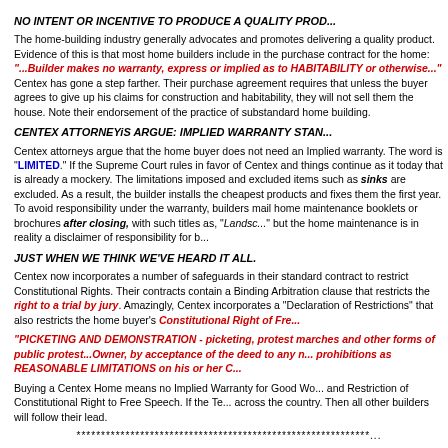NO INTENT OR INCENTIVE TO PRODUCE A QUALITY PROD...
The home-building industry generally advocates and promotes delivering a quality product. Evidence of this is that most home builders include in the purchase contract for the home: "...Builder makes no warranty, express or implied as to HABITABILITY or otherwise..." Centex has gone a step farther. Their purchase agreement requires that unless the buyer agrees to give up his claims for construction and habitability, they will not sell them the house. Note the endorsement of the practice of substandard home building.
CENTEX ATTORNEYiS ARGUE: IMPLIED WARRANTY STAN...
Centex attorneys argue that the home buyer does not need an Implied warranty. The word is "LIMITED." If the Supreme Court rules in favor of Centex and things continue as it today that is already a mockery. The limitations imposed and excluded items such as sinks are excluded. As a result, the builder installs the cheapest products and fixes them the first year. To avoid responsibility under the warranty, builders mail home maintenance booklets or brochures after closing, with such titles as, "Landscaping..." but the home maintenance is in reality a disclaimer of responsibility for b...
JUST WHEN WE THINK WE'VE HEARD IT ALL.
Centex now incorporates a number of safeguards in their standard contract to restrict Constitutional Rights. Their contracts contain a Binding Arbitration clause that restricts the right to a trial by jury. Amazingly, Centex incorporates a "Declaration of Restrictions" that also restricts the home buyer's Constitutional Right of Fre...
"PICKETING AND DEMONSTRATION - picketing, protest marches and other forms of public protest...Owner, by acceptance of the deed to any n... prohibitions as REASONABLE LIMITATIONS on his or her C...
Buying a Centex Home means no Implied Warranty for Good Wo... and Restriction of Constitutional Right to Free Speech. If the Te... across the country. Then all other builders will follow their lead.
************************************************************...
TO...